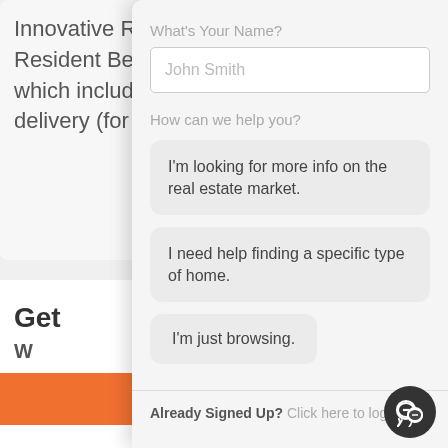Innovative R
Resident Be
which includ
delivery (for
What's Your Name?
John Smith
How can we help you?
I'm looking for more info on the real estate market.
I need help finding a specific type of home.
I'm just browsing.
Already Signed Up?  Click here to login.
Get
W
NOT NOW